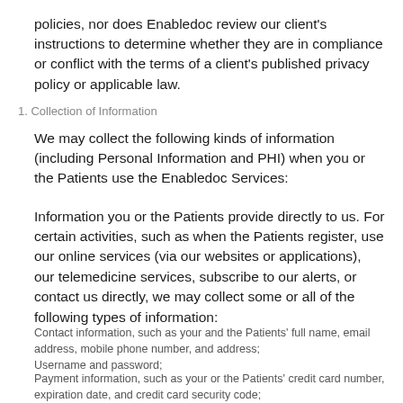policies, nor does Enabledoc review our client's instructions to determine whether they are in compliance or conflict with the terms of a client's published privacy policy or applicable law.
1. Collection of Information
We may collect the following kinds of information (including Personal Information and PHI) when you or the Patients use the Enabledoc Services:
Information you or the Patients provide directly to us. For certain activities, such as when the Patients register, use our online services (via our websites or applications), our telemedicine services, subscribe to our alerts, or contact us directly, we may collect some or all of the following types of information:
Contact information, such as your and the Patients' full name, email address, mobile phone number, and address;
Username and password;
Payment information, such as your or the Patients' credit card number, expiration date, and credit card security code;
Information about your employment, such as your job title,